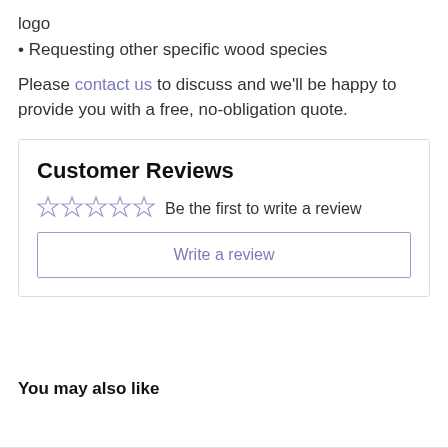logo
• Requesting other specific wood species
Please contact us to discuss and we'll be happy to provide you with a free, no-obligation quote.
Customer Reviews
☆☆☆☆☆ Be the first to write a review
Write a review
You may also like